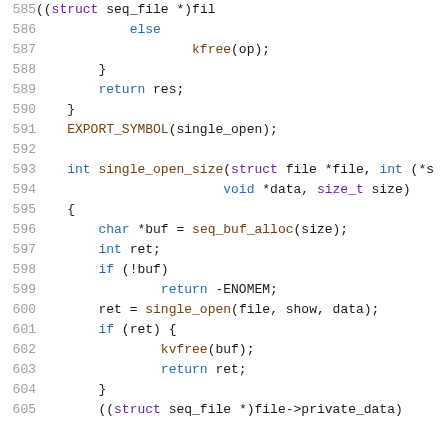[Figure (screenshot): Source code listing in C, lines 585-605, showing functions with single_open, kfree, EXPORT_SYMBOL, single_open_size, seq_buf_alloc, kvfree on a white background with syntax highlighting.]